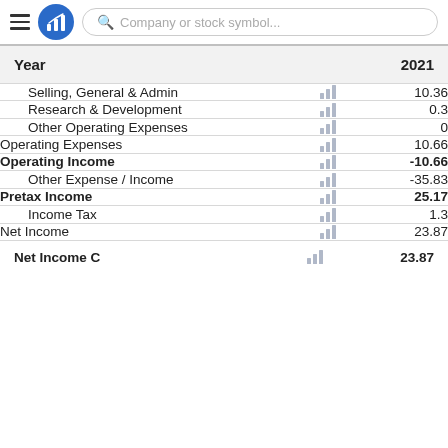Company or stock symbol...
| Year | 2021 |
| --- | --- |
| Selling, General & Admin |  | 10.36 |
| Research & Development |  | 0.3 |
| Other Operating Expenses |  | 0 |
| Operating Expenses |  | 10.66 |
| Operating Income |  | -10.66 |
| Other Expense / Income |  | -35.83 |
| Pretax Income |  | 25.17 |
| Income Tax |  | 1.3 |
| Net Income |  | 23.87 |